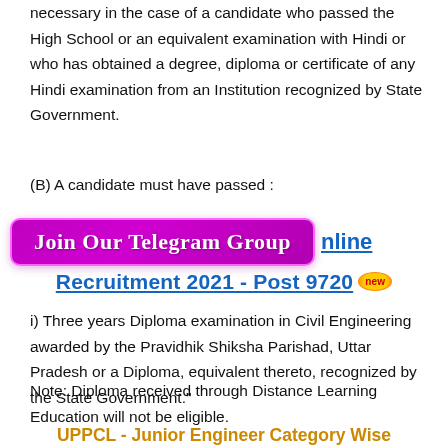necessary in the case of a candidate who passed the High School or an equivalent examination with Hindi or who has obtained a degree, diploma or certificate of any Hindi examination from an Institution recognized by State Government.
(B) A candidate must have passed :
[Figure (infographic): Purple banner with 'Join Our Telegram Group' text alongside blue underlined text 'nline' and 'Recruitment 2021 - Post 9720' with a 'new' badge]
i) Three years Diploma examination in Civil Engineering awarded by the Pravidhik Shiksha Parishad, Uttar Pradesh or a Diploma, equivalent thereto, recognized by the State Government."
Note: Diploma received through Distance Learning Education will not be eligible.
UPPCL - Junior Engineer Category Wise